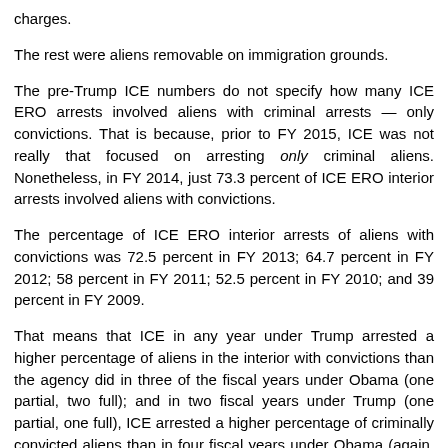charges.
The rest were aliens removable on immigration grounds.
The pre-Trump ICE numbers do not specify how many ICE ERO arrests involved aliens with criminal arrests — only convictions. That is because, prior to FY 2015, ICE was not really that focused on arresting only criminal aliens. Nonetheless, in FY 2014, just 73.3 percent of ICE ERO interior arrests involved aliens with convictions.
The percentage of ICE ERO interior arrests of aliens with convictions was 72.5 percent in FY 2013; 64.7 percent in FY 2012; 58 percent in FY 2011; 52.5 percent in FY 2010; and 39 percent in FY 2009.
That means that ICE in any year under Trump arrested a higher percentage of aliens in the interior with convictions than the agency did in three of the fiscal years under Obama (one partial, two full); and in two fiscal years under Trump (one partial, one full), ICE arrested a higher percentage of criminally convicted aliens than in four fiscal years under Obama (again, three partial, one full). And the percentages in FY 2019 were pretty close to those in FY 2012.
Why, then, does the Washington Post bring up "the deportation of